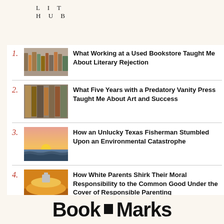LIT HUB
What Working at a Used Bookstore Taught Me About Literary Rejection
What Five Years with a Predatory Vanity Press Taught Me About Art and Success
How an Unlucky Texas Fisherman Stumbled Upon an Environmental Catastrophe
How White Parents Shirk Their Moral Responsibility to the Common Good Under the Cover of Responsible Parenting
Book Marks